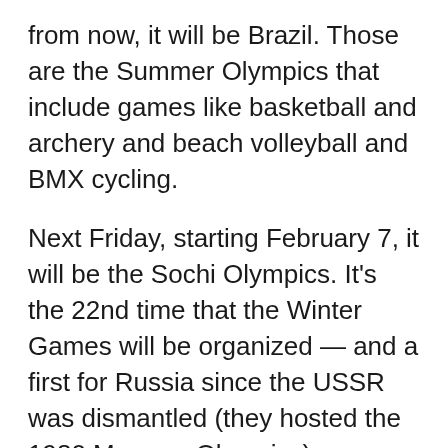from now, it will be Brazil. Those are the Summer Olympics that include games like basketball and archery and beach volleyball and BMX cycling.
Next Friday, starting February 7, it will be the Sochi Olympics. It's the 22nd time that the Winter Games will be organized — and a first for Russia since the USSR was dismantled (they hosted the 1980 Moscow Olympics).
Sochi is a little-known Russian resort city. If